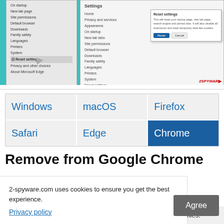[Figure (screenshot): Screenshot of Microsoft Edge browser Settings page showing Reset settings dialog with a cursor pointing at options. The interface shows a teal/cyan left panel with menu items and a Reset settings dialog box open. 2SPYWARE watermark visible in bottom right.]
| Windows | macOS | Firefox | Safari | Edge | Chrome |
| --- | --- | --- | --- | --- | --- |
Remove from Google Chrome
2-spyware.com uses cookies to ensure you get the best experience.
Privacy policy
Agree
damaged files.